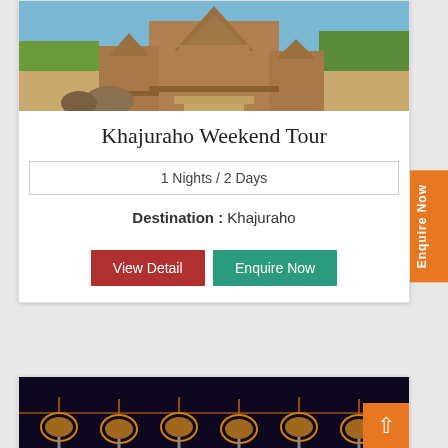[Figure (photo): Photo of Khajuraho temple complex with carved stone architecture against a blue sky]
Khajuraho Weekend Tour
1 Nights / 2 Days
Destination : Khajuraho
View Detail
Enquire Now
[Figure (photo): Nighttime festival photo with decorative lights and illuminated ornamental structures]